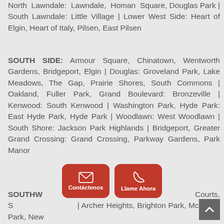North Lawndale: Lawndale, Homan Square, Douglas Park | South Lawndale: Little Village | Lower West Side: Heart of Elgin, Heart of Italy, Pilsen, East Pilsen
SOUTH SIDE: Armour Square, Chinatown, Wentworth Gardens, Bridgeport, Elgin | Douglas: Groveland Park, Lake Meadows, The Gap, Prairie Shores, South Commons | Oakland, Fuller Park, Grand Boulevard: Bronzeville | Kenwood: South Kenwood | Washington Park, Hyde Park: East Hyde Park, Hyde Park | Woodlawn: West Woodlawn | South Shore: Jackson Park Highlands | Bridgeport, Greater Grand Crossing: Grand Crossing, Parkway Gardens, Park Manor
SOUTHWEST: ... LeClaire Courts, S... | Archer Heights, Brighton Park, McKinley Park, New
[Figure (other): Two red buttons with rounded corners: 'Contáctenos' (email icon) and 'Llame Ahora' (phone icon)]